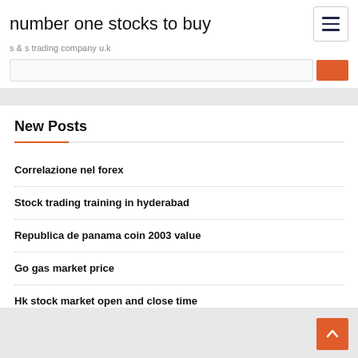number one stocks to buy
s & s trading company u.k
New Posts
Correlazione nel forex
Stock trading training in hyderabad
Republica de panama coin 2003 value
Go gas market price
Hk stock market open and close time